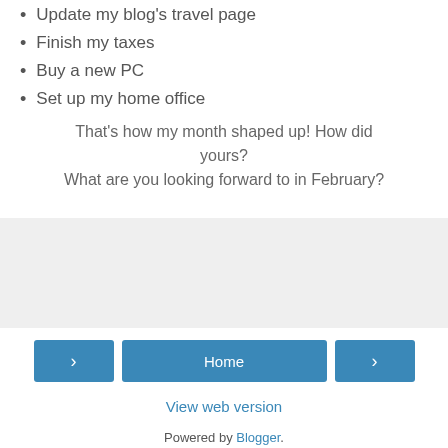Update my blog's travel page
Finish my taxes
Buy a new PC
Set up my home office
That's how my month shaped up! How did yours? What are you looking forward to in February?
[Figure (other): Gray advertisement or widget placeholder box]
< Home >
View web version
Powered by Blogger.